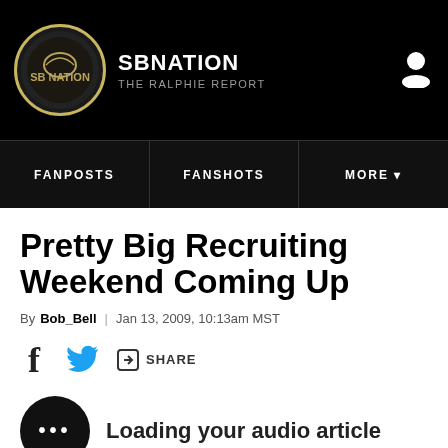SBNATION — THE RALPHIE REPORT
FANPOSTS | FANSHOTS | MORE
Pretty Big Recruiting Weekend Coming Up
By Bob_Bell | Jan 13, 2009, 10:13am MST
Share (Facebook, Twitter, Share)
Loading your audio article